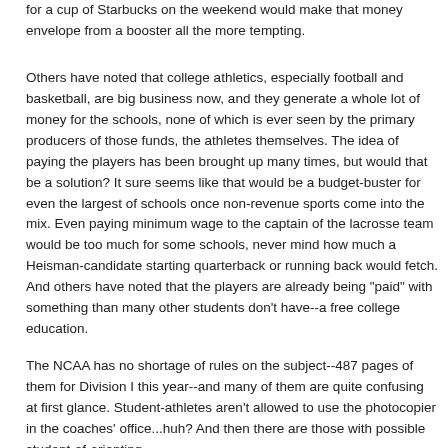for a cup of Starbucks on the weekend would make that money envelope from a booster all the more tempting.
Others have noted that college athletics, especially football and basketball, are big business now, and they generate a whole lot of money for the schools, none of which is ever seen by the primary producers of those funds, the athletes themselves. The idea of paying the players has been brought up many times, but would that be a solution? It sure seems like that would be a budget-buster for even the largest of schools once non-revenue sports come into the mix. Even paying minimum wage to the captain of the lacrosse team would be too much for some schools, never mind how much a Heisman-candidate starting quarterback or running back would fetch. And others have noted that the players are already being "paid" with something than many other students don't have--a free college education.
The NCAA has no shortage of rules on the subject--487 pages of them for Division I this year--and many of them are quite confusing at first glance. Student-athletes aren't allowed to use the photocopier in the coaches' office...huh? And then there are those with possible student-of-orienting...